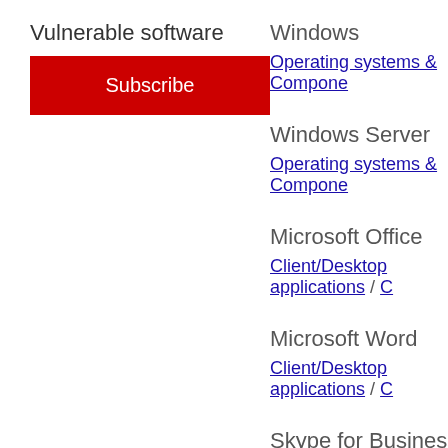Vulnerable software
Subscribe
Windows
Operating systems & Components
Windows Server
Operating systems & Components
Microsoft Office
Client/Desktop applications / C
Microsoft Word
Client/Desktop applications / C
Skype for Business
Client/Desktop applications / M
Microsoft Lync
Client/Desktop applications / M
Microsoft Live Meeting